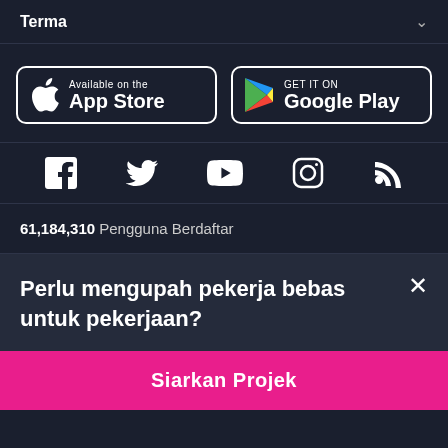Terma
[Figure (screenshot): App Store and Google Play download buttons]
[Figure (infographic): Social media icons: Facebook, Twitter, YouTube, Instagram, RSS]
61,184,310 Pengguna Berdaftar
Perlu mengupah pekerja bebas untuk pekerjaan?
Siarkan Projek